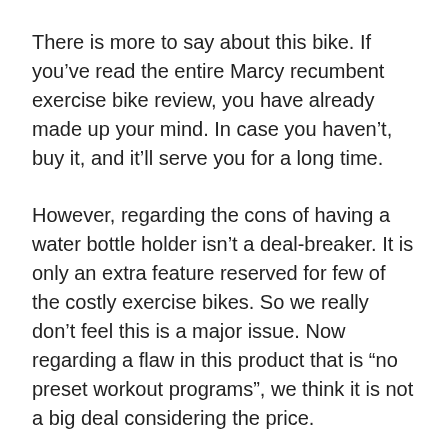There is more to say about this bike. If you’ve read the entire Marcy recumbent exercise bike review, you have already made up your mind. In case you haven’t, buy it, and it’ll serve you for a long time.
However, regarding the cons of having a water bottle holder isn’t a deal-breaker. It is only an extra feature reserved for few of the costly exercise bikes. So we really don’t feel this is a major issue. Now regarding a flaw in this product that is “no preset workout programs”, we think it is not a big deal considering the price.